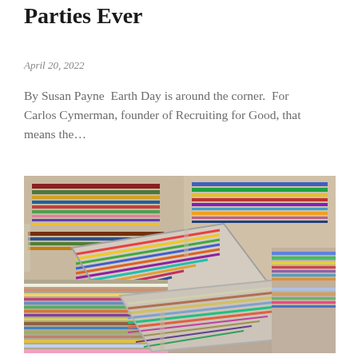Parties Ever
April 20, 2022
By Susan Payne  Earth Day is around the corner.  For Carlos Cymerman, founder of Recruiting for Good, that means the…
[Figure (photo): Colorful striped woven blankets or rugs stacked and displayed on metal trays at what appears to be a market]